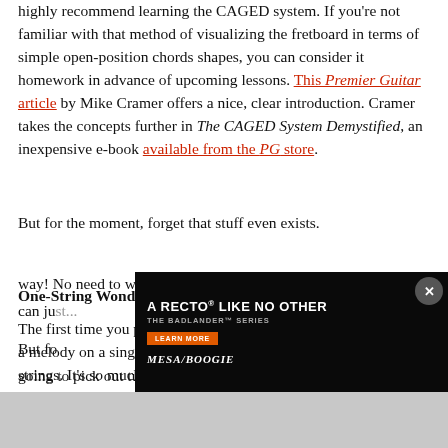highly recommend learning the CAGED system. If you're not familiar with that method of visualizing the fretboard in terms of simple open-position chords shapes, you can consider it homework in advance of upcoming lessons. This Premier Guitar article by Mike Cramer offers a nice, clear introduction. Cramer takes the concepts further in The CAGED System Demystified, an inexpensive e-book available from the PG store.
But for the moment, forget that stuff even exists.
One-String Wonders
The first time you picked up a guitar, you might have plucked out a melody on a single string. Later, you learned to play across the strings. It's so much more efficient that way! No need to work half-way the fretboard when you can ju...
[Figure (photo): Mesa/Boogie Badlander Series advertisement overlay showing a guitar amplifier head with guitar, black background, with 'A RECTO LIKE NO OTHER - THE BADLANDER SERIES' text, LEARN MORE button, and Mesa/Boogie logo]
But fo... We're going to pick out tunes on a single string, shifting...